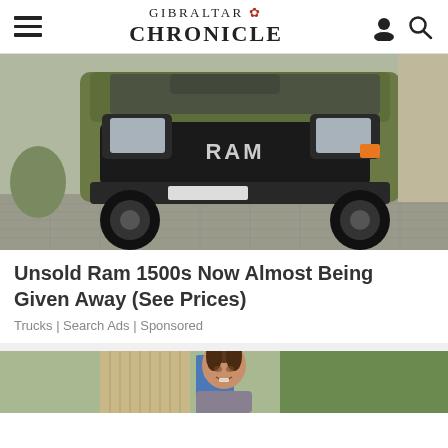GIBRALTAR CHRONICLE
[Figure (photo): Front view of a matte olive green RAM 1500 truck with large off-road tires parked on a brick driveway]
Unsold Ram 1500s Now Almost Being Given Away (See Prices)
Trucks | Search Ads | Sponsored
[Figure (photo): Smiling woman with hair up in bun, outdoors with trees and blue door in background]